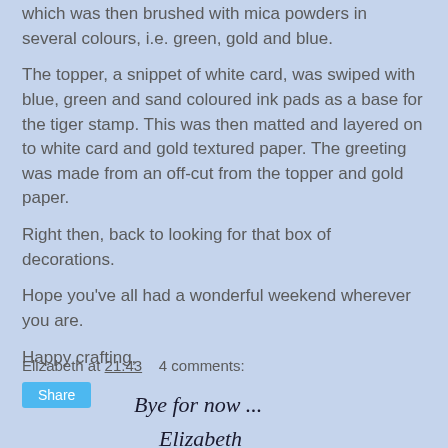which was then brushed with mica powders in several colours, i.e. green, gold and blue.
The topper, a snippet of white card, was swiped with blue, green and sand coloured ink pads as a base for the tiger stamp. This was then matted and layered on to white card and gold textured paper. The greeting was made from an off-cut from the topper and gold paper.
Right then, back to looking for that box of decorations.
Hope you've all had a wonderful weekend wherever you are.
Happy crafting,
[Figure (illustration): Handwritten signature reading 'Bye for now ... Elizabeth']
Elizabeth at 21:43    4 comments:
Share